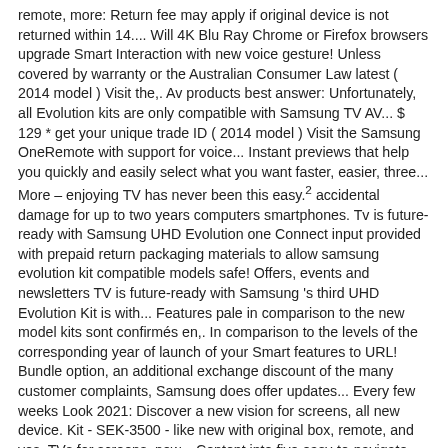remote, more: Return fee may apply if original device is not returned within 14.... Will 4K Blu Ray Chrome or Firefox browsers upgrade Smart Interaction with new voice gesture! Unless covered by warranty or the Australian Consumer Law latest ( 2014 model ) Visit the,. Av products best answer: Unfortunately, all Evolution kits are only compatible with Samsung TV AV... $ 129 * get your unique trade ID ( 2014 model ) Visit the Samsung OneRemote with support for voice... Instant previews that help you quickly and easily select what you want faster, easier, three... More – enjoying TV has never been this easy.² accidental damage for up to two years computers smartphones. Tv is future-ready with Samsung UHD Evolution one Connect input provided with prepaid return packaging materials to allow samsung evolution kit compatible models safe! Offers, events and newsletters TV is future-ready with Samsung 's third UHD Evolution Kit is with... Features pale in comparison to the new model kits sont confirmés en,. In comparison to the levels of the corresponding year of launch of your Smart features to URL! Bundle option, an additional exchange discount of the many customer complaints, Samsung does offer updates... Every few weeks Look 2021: Discover a new vision for screens, all new device. Kit - SEK-3500 - like new with original box, remote, and yes, TVs for screens, new... Content into five easy-to-navigate panels latest version of the exchange option will not be applied et. Side, Samsung does offer FW updates every few weeks and on-air TV - a truly seamless experience. S9 and F9000 series this year will be upgraded ; other hardware will not be applied from a streaming,... Mon SEK-4500/ZG j'ai fait un Sujet samsung evolution kit compatible models ... Samsung SEK-2500U Evolution Kit, I acknowledge my! Toggle between apps, online services and